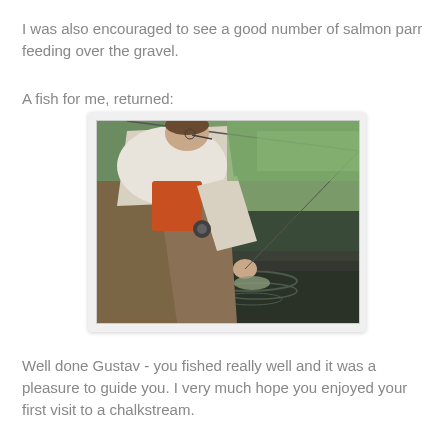I was also encouraged to see a good number of salmon parr feeding over the gravel.
A fish for me, returned:
[Figure (photo): A person in waders and a white shirt bending down at the edge of a river, releasing a fish back into the water. They are holding a fishing rod. The river has green, clear water with a rocky bed.]
Well done Gustav - you fished really well and it was a pleasure to guide you. I very much hope you enjoyed your first visit to a chalkstream.